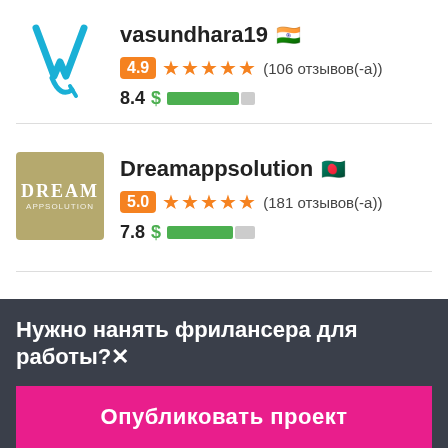[Figure (logo): vasundhara19 user avatar with stylized V checkmark logo in blue]
vasundhara19 🇮🇳
4.9 ★★★★★ (106 отзывов(-а))
8.4 $ ████████░
[Figure (logo): Dreamappsolution logo - dark beige/olive square with DREAM text]
Dreamappsolution 🇧🇩
5.0 ★★★★★ (181 отзывов(-а))
7.8 $ ████████░░
Нужно нанять фрилансера для работы?✕
Опубликовать проект